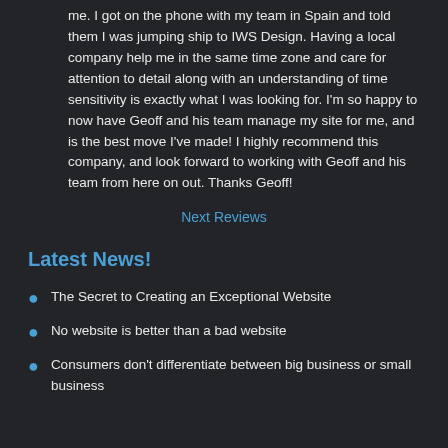me. I got on the phone with my team in Spain and told them I was jumping ship to IWS Design. Having a local company help me in the same time zone and care for attention to detail along with an understanding of time sensitivity is exactly what I was looking for. I'm so happy to now have Geoff and his team manage my site for me, and is the best move I've made! I highly recommend this company, and look forward to working with Geoff and his team from here on out. Thanks Geoff!
Next Reviews
Latest News!
The Secret to Creating an Exceptional Website
No website is better than a bad website
Consumers don't differentiate between big business or small business